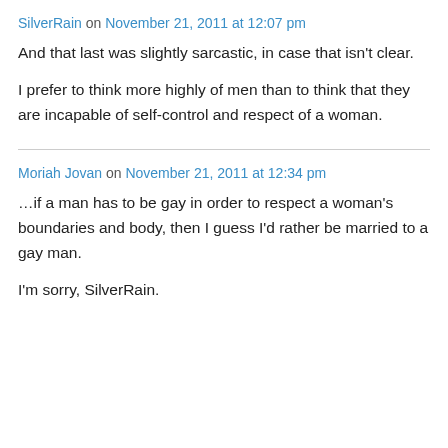SilverRain on November 21, 2011 at 12:07 pm
And that last was slightly sarcastic, in case that isn't clear.
I prefer to think more highly of men than to think that they are incapable of self-control and respect of a woman.
Moriah Jovan on November 21, 2011 at 12:34 pm
…if a man has to be gay in order to respect a woman's boundaries and body, then I guess I'd rather be married to a gay man.
I'm sorry, SilverRain.